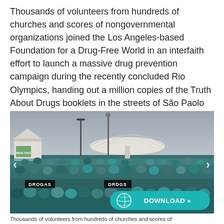Thousands of volunteers from hundreds of churches and scores of nongovernmental organizations joined the Los Angeles-based Foundation for a Drug-Free World in an interfaith effort to launch a massive drug prevention campaign during the recently concluded Rio Olympics, handing out a million copies of the Truth About Drugs booklets in the streets of São Paolo and Rio de Janeiro.
[Figure (photo): Large crowd of volunteers in teal/green shirts gathered outdoors near the Rio de Janeiro Museum of Tomorrow (Museu do Amanhã), with DROGAS banners visible, during the drug prevention campaign at the Rio Olympics. A Download button overlay appears at the bottom right.]
Thousands of volunteers from hundreds of churches and scores of